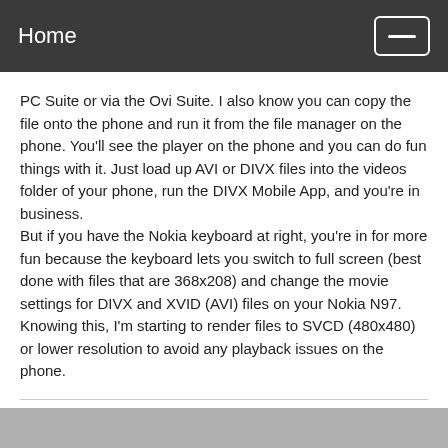Home
PC Suite or via the Ovi Suite. I also know you can copy the file onto the phone and run it from the file manager on the phone. You'll see the player on the phone and you can do fun things with it. Just load up AVI or DIVX files into the videos folder of your phone, run the DIVX Mobile App, and you're in business.
But if you have the Nokia keyboard at right, you're in for more fun because the keyboard lets you switch to full screen (best done with files that are 368x208) and change the movie settings for DIVX and XVID (AVI) files on your Nokia N97.
Knowing this, I'm starting to render files to SVCD (480x480) or lower resolution to avoid any playback issues on the phone.
x_ref125mw #tech